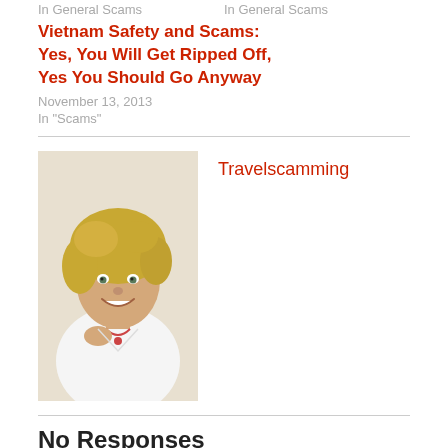In  General Scams    In  General Scams
Vietnam Safety and Scams: Yes, You Will Get Ripped Off, Yes You Should Go Anyway
November 13, 2013
In "Scams"
[Figure (photo): Portrait photo of a smiling blonde woman in a white top]
Travelscamming
No Responses